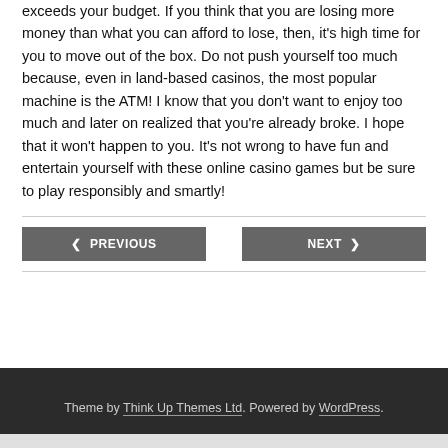exceeds your budget. If you think that you are losing more money than what you can afford to lose, then, it's high time for you to move out of the box. Do not push yourself too much because, even in land-based casinos, the most popular machine is the ATM! I know that you don't want to enjoy too much and later on realized that you're already broke. I hope that it won't happen to you. It's not wrong to have fun and entertain yourself with these online casino games but be sure to play responsibly and smartly!
◄ PREVIOUS
NEXT ►
Theme by Think Up Themes Ltd. Powered by WordPress.